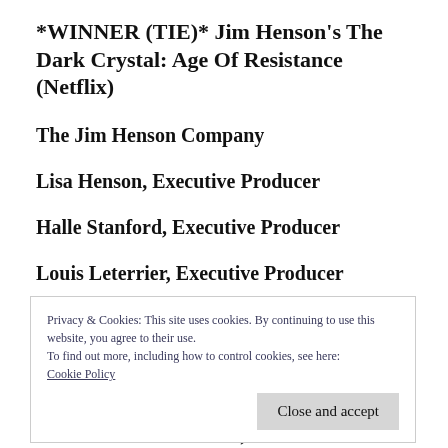*WINNER (TIE)* Jim Henson's The Dark Crystal: Age Of Resistance (Netflix)
The Jim Henson Company
Lisa Henson, Executive Producer
Halle Stanford, Executive Producer
Louis Leterrier, Executive Producer
Privacy & Cookies: This site uses cookies. By continuing to use this website, you agree to their use.
To find out more, including how to control cookies, see here: Cookie Policy
Close and accept
Javier Grillo-Marxuach, Co-Executive